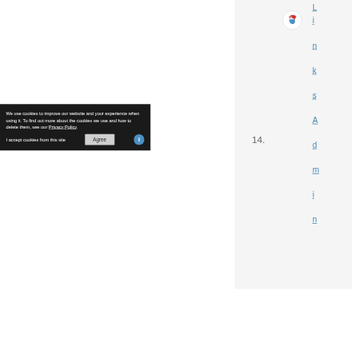[Figure (logo): Circular logo with red and blue colors, possibly a website or company logo]
14.
L i n k s A d m i n
We use cookies to improve our website and your experience when using it. To find out more about the cookies we use and how to delete them, see our Privacy Policy.
I accept cookies from this site
Agree